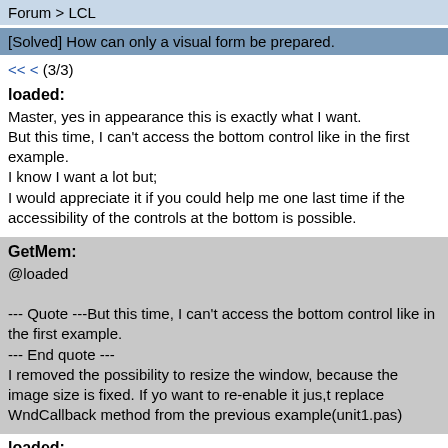Forum > LCL
[Solved] How can only a visual form be prepared.
<< < (3/3)
loaded:
Master, yes in appearance this is exactly what I want.
But this time, I can't access the bottom control like in the first example.
I know I want a lot but;
I would appreciate it if you could help me one last time if the accessibility of the controls at the bottom is possible.
GetMem:
@loaded

--- Quote ---But this time, I can't access the bottom control like in the first example.
--- End quote ---
I removed the possibility to resize the window, because the image size is fixed. If yo want to re-enable it jus,t replace WndCallback method from the previous example(unit1.pas)
loaded: